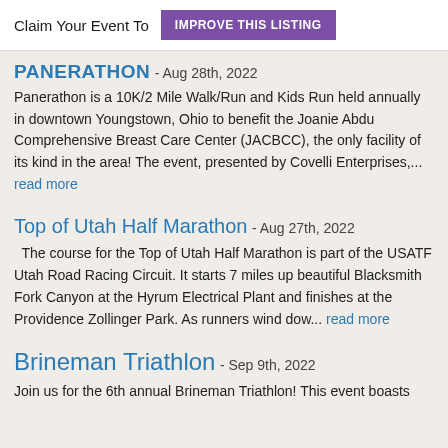Claim Your Event To  IMPROVE THIS LISTING
PANERATHON - Aug 28th, 2022
Panerathon is a 10K/2 Mile Walk/Run and Kids Run held annually in downtown Youngstown, Ohio to benefit the Joanie Abdu Comprehensive Breast Care Center (JACBCC), the only facility of its kind in the area! The event, presented by Covelli Enterprises,... read more
Top of Utah Half Marathon - Aug 27th, 2022
The course for the Top of Utah Half Marathon is part of the USATF Utah Road Racing Circuit. It starts 7 miles up beautiful Blacksmith Fork Canyon at the Hyrum Electrical Plant and finishes at the Providence Zollinger Park. As runners wind dow... read more
Brineman Triathlon - Sep 9th, 2022
Join us for the 6th annual Brineman Triathlon! This event boasts